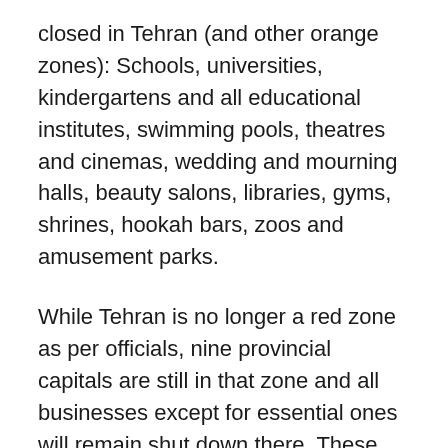closed in Tehran (and other orange zones): Schools, universities, kindergartens and all educational institutes, swimming pools, theatres and cinemas, wedding and mourning halls, beauty salons, libraries, gyms, shrines, hookah bars, zoos and amusement parks.
While Tehran is no longer a red zone as per officials, nine provincial capitals are still in that zone and all businesses except for essential ones will remain shut down there. These cities include Mashhad, Rasht, Qazvin, Ardabil, Zahedan, Shiraz, Sari, Bojnourd, and Gorgan.